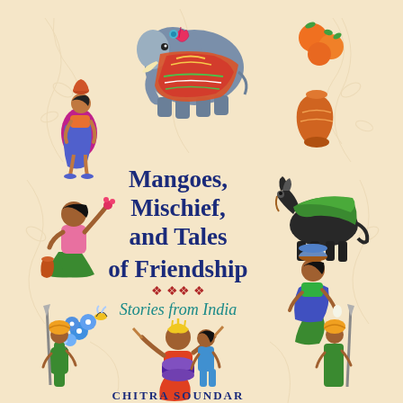[Figure (illustration): Book cover for 'Mangoes, Mischief, and Tales of Friendship: Stories from India' by Chitra Soundar. The cover has a warm cream/peach background with decorative Indian folk art illustrations including: a decorated elephant in the top center, a woman in blue sari carrying a pot on her head (left), oranges/fruits (top right), an orange clay pot (right), a boy sitting cross-legged picking flowers (left middle), a donkey loaded with green fodder (right middle), decorative blue flowers and bees (left lower), a seated woman with a basket on her head (right middle-lower), four Indian characters at the bottom (guards with spears and people in traditional dress), and a drummer/dancer in the center bottom. The main title text 'Mangoes, Mischief, and Tales of Friendship' appears in large dark blue serif font in the center, with 'Stories from India' below it in teal/turquoise, and the author name 'CHITRA SOUNDAR' at the very bottom in dark blue caps.]